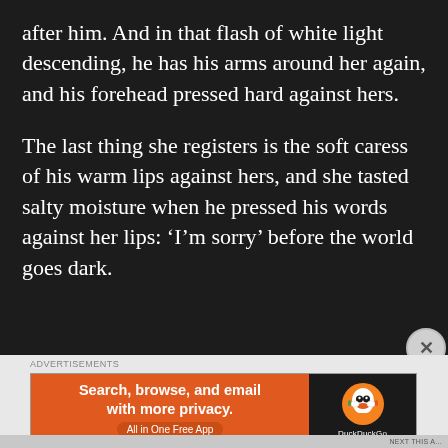after him. And in that flash of white light descending, he has his arms around her again, and his forehead pressed hard against hers.
The last thing she registers is the soft caress of his warm lips against hers, and she tasted salty moisture when he pressed his words against her lips: ‘I’m sorry’ before the world goes dark.
[Figure (other): DuckDuckGo advertisement banner with orange background on left reading 'Search, browse, and email with more privacy. All in One Free App' and black background on right with DuckDuckGo duck logo]
NEXT THIS A...